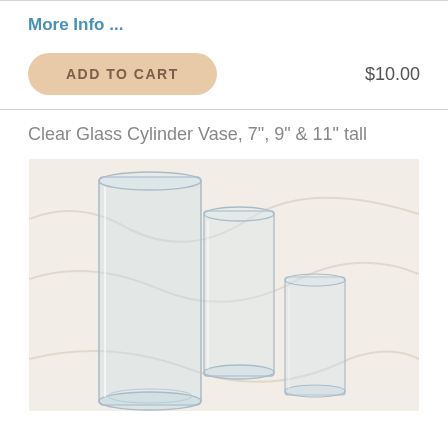More Info ...
ADD TO CART    $10.00
Clear Glass Cylinder Vase, 7", 9" & 11" tall
[Figure (photo): Three clear glass cylinder vases of different heights (7", 9", and 11" tall) arranged on a white fabric background. The tallest is on the left, medium in back-center, and shortest on the right.]